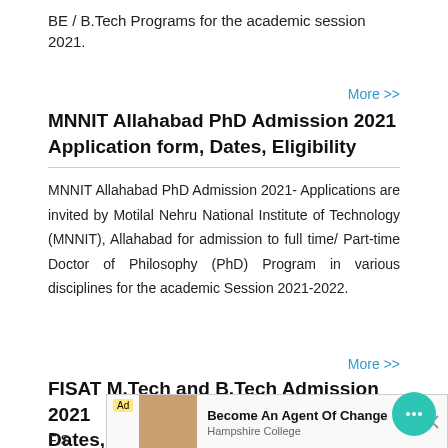BE / B.Tech Programs for the academic session 2021.
More >>
MNNIT Allahabad PhD Admission 2021 Application form, Dates, Eligibility
MNNIT Allahabad PhD Admission 2021- Applications are invited by Motilal Nehru National Institute of Technology (MNNIT), Allahabad for admission to full time/ Part-time Doctor of Philosophy (PhD) Program in various disciplines for the academic Session 2021-2022.
More >>
FISAT M.Tech and B.Tech Admission 2021 Dates, Application Form, Courses, Eligibility
FIS